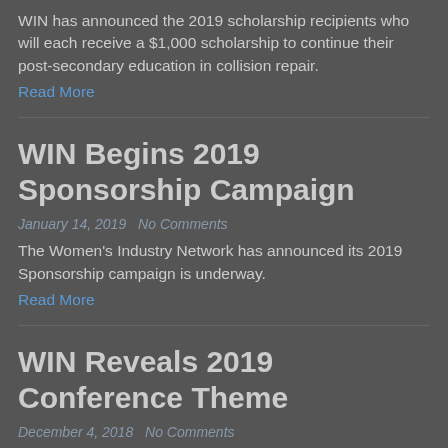WIN has announced the 2019 scholarship recipients who will each receive a $1,000 scholarship to continue their post-secondary education in collision repair.
Read More
WIN Begins 2019 Sponsorship Campaign
January 14, 2019   No Comments
The Women's Industry Network has announced its 2019 Sponsorship campaign is underway.
Read More
WIN Reveals 2019 Conference Theme
December 4, 2018   No Comments
The Women's Industry Network announced the theme for the